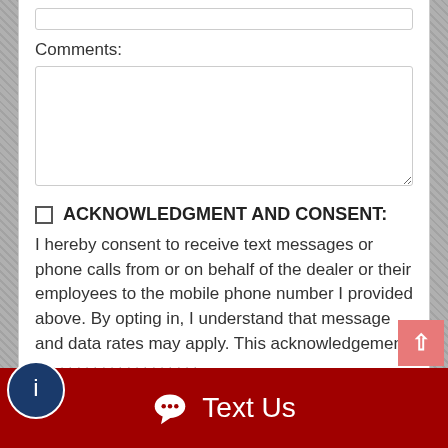Comments:
ACKNOWLEDGMENT AND CONSENT: I hereby consent to receive text messages or phone calls from or on behalf of the dealer or their employees to the mobile phone number I provided above. By opting in, I understand that message and data rates may apply. This acknowledgement
Send Inquiry
Text Us